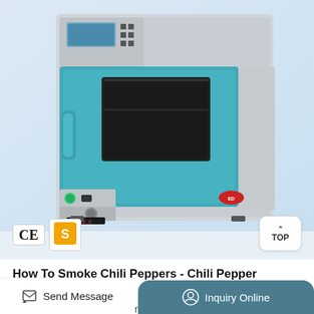[Figure (photo): A teal/turquoise convection oven or laboratory drying oven with digital control panel, door handle, knob, and viewing window. Brand logo visible bottom right. CE and gold S certification badges shown bottom left. TOP navigation button at bottom right.]
How To Smoke Chili Peppers - Chili Pepper ...
May 29, 2021 · Close the convection oven door and set the temperature to 200 degrees C for about 10